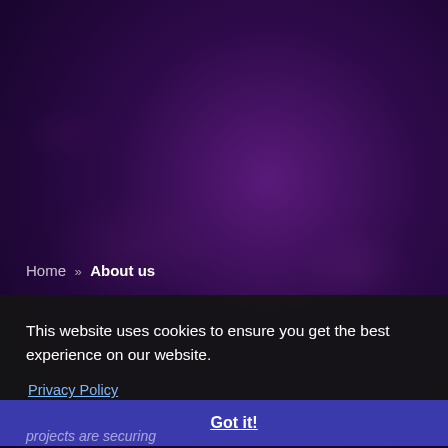[Figure (screenshot): Dark purple gradient background with textured overlay, resembling a website hero/banner section with subtle radial highlights]
Home » About us
This website uses cookies to ensure you get the best experience on our website. Privacy Policy
Got it!
projects are securing